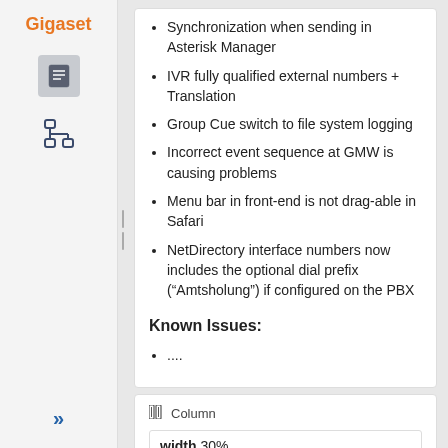[Figure (logo): Gigaset orange text logo in sidebar]
[Figure (illustration): Document/page icon in gray rounded square]
[Figure (illustration): Network/hierarchy icon]
[Figure (illustration): Double chevron (>>) navigation icon]
Synchronization when sending in Asterisk Manager
IVR fully qualified external numbers + Translation
Group Cue switch to file system logging
Incorrect event sequence at GMW is causing problems
Menu bar in front-end is not drag-able in Safari
NetDirectory interface numbers now includes the optional dial prefix (“Amtsholung”) if configured on the PBX
Known Issues:
....
Column
width 30%